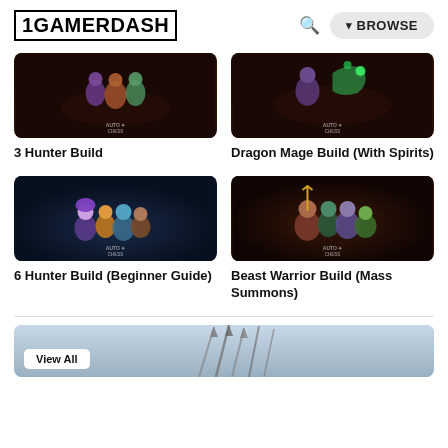1GAMERDASH
[Figure (screenshot): Dark brown background game thumbnail with Auto Chess characters and logo watermark — 3 Hunter Build]
3 Hunter Build
[Figure (screenshot): Dark brown background game thumbnail with Auto Chess characters and logo watermark — Dragon Mage Build (With Spirits)]
Dragon Mage Build (With Spirits)
[Figure (screenshot): Dark blue background game thumbnail with Auto Chess purple-haired characters and logo watermark — 6 Hunter Build]
6 Hunter Build (Beginner Guide)
[Figure (screenshot): Dark brown background game thumbnail with Auto Chess beast warrior characters and logo watermark — Beast Warrior Build]
Beast Warrior Build (Mass Summons)
[Figure (screenshot): Wide banner image with spears/weapons in a sky scene, with View All button overlay]
View All